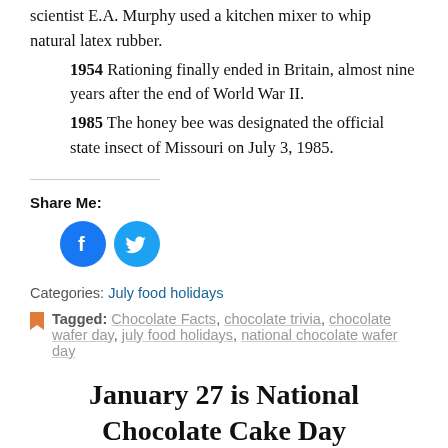scientist E.A. Murphy used a kitchen mixer to whip natural latex rubber.
1954 Rationing finally ended in Britain, almost nine years after the end of World War II.
1985 The honey bee was designated the official state insect of Missouri on July 3, 1985.
Share Me:
[Figure (other): Facebook and Twitter social share icon buttons (blue circles with white icons)]
Categories: July food holidays
Tagged: Chocolate Facts, chocolate trivia, chocolate wafer day, july food holidays, national chocolate wafer day
January 27 is National Chocolate Cake Day